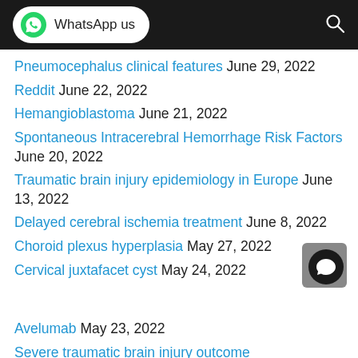WhatsApp us
Pneumocephalus clinical features June 29, 2022
Reddit June 22, 2022
Hemangioblastoma June 21, 2022
Spontaneous Intracerebral Hemorrhage Risk Factors June 20, 2022
Traumatic brain injury epidemiology in Europe June 13, 2022
Delayed cerebral ischemia treatment June 8, 2022
Choroid plexus hyperplasia May 27, 2022
Cervical juxtafacet cyst May 24, 2022
Avelumab May 23, 2022
Severe traumatic brain injury outcome